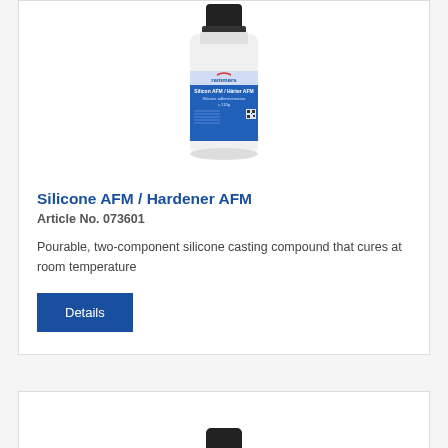[Figure (photo): White plastic bottle with black cap and blue Remmers label reading 'Silicon AFM / Härter AFM, Silicone adhesive mass, c.110g']
Silicone AFM / Hardener AFM
Article No. 073601
Pourable, two-component silicone casting compound that cures at room temperature
[Figure (photo): Top portion of a black bottle cap, partially visible at bottom of second card]